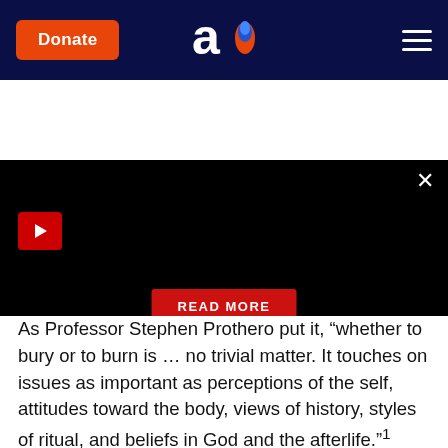Aish.com navigation bar with Donate button and logo
[Figure (screenshot): Dark video player area with play button, close X, and READ MORE button on black background]
As Professor Stephen Prothero put it, “whether to bury or to burn is … no trivial matter. It touches on issues as important as perceptions of the self, attitudes toward the body, views of history, styles of ritual, and beliefs in God and the afterlife.”¹
Because this decision is so important, it is crucial not to leave it until the rushed and stressful times of ultimate